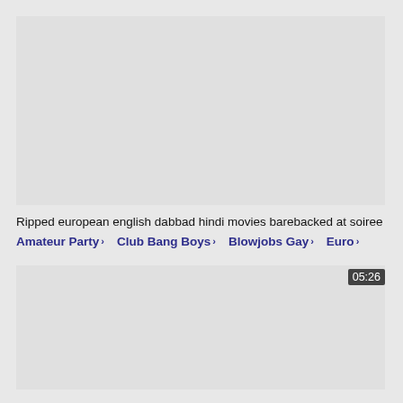[Figure (screenshot): Top video thumbnail area - light gray placeholder]
Ripped european english dabbad hindi movies barebacked at soiree
Amateur Party › Club Bang Boys › Blowjobs Gay › Euro ›
[Figure (screenshot): Bottom video thumbnail area - light gray placeholder with time badge 05:26]